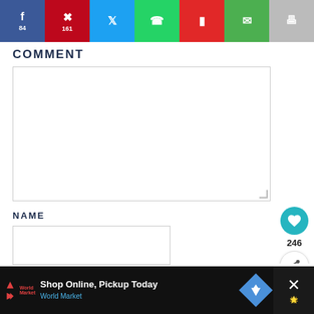[Figure (screenshot): Social share bar with Facebook (84), Pinterest (161), Twitter, WhatsApp, Flipboard, Email, and Print buttons]
COMMENT
[Figure (screenshot): Empty comment textarea input box]
NAME
[Figure (screenshot): Empty name input box]
EMAIL
[Figure (screenshot): Heart/like button showing 246 and share button on right sidebar]
[Figure (screenshot): What's Next promo: 50 Jaw-Dropping...]
[Figure (screenshot): Advertisement bar: Shop Online, Pickup Today - World Market]